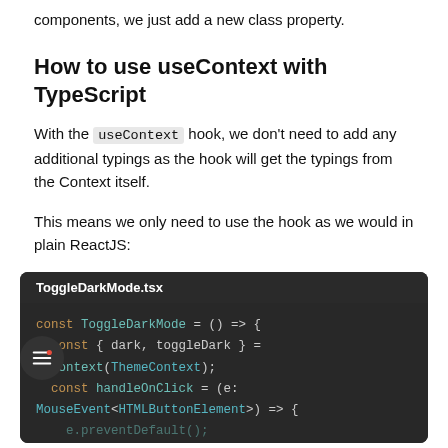components, we just add a new class property.
How to use useContext with TypeScript
With the useContext hook, we don't need to add any additional typings as the hook will get the typings from the Context itself.
This means we only need to use the hook as we would in plain ReactJS:
[Figure (screenshot): Code block titled ToggleDarkMode.tsx showing TypeScript/React code with syntax highlighting on dark background. Code shows: const ToggleDarkMode = () => { const { dark, toggleDark } = Context(ThemeContext); const handleOnClick = (e: MouseEvent<HTMLButtonElement>) => {]